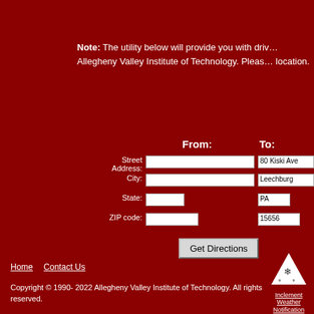Note: The utility below will provide you with driving directions to Allegheny Valley Institute of Technology. Please enter your location.
From:
To:
Street Address:
80 Kiski Ave
City:
Leechburg
State:
PA
ZIP code:
15656
Get Directions
Home   Contact Us
Copyright © 1990- 2022 Allegheny Valley Institute of Technology. All rights reserved.
Inclement Weather Notification